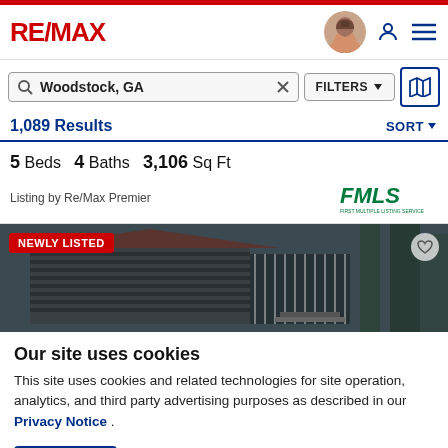RE/MAX
Woodstock, GA — FILTERS — 1,089 Results — SORT
5 Beds  4 Baths  3,106 Sq Ft
Listing by Re/Max Premier
[Figure (photo): Exterior photo of a house with dark gray siding and a screened porch, labeled NEWLY LISTED]
Our site uses cookies
This site uses cookies and related technologies for site operation, analytics, and third party advertising purposes as described in our Privacy Notice .
ACCEPT